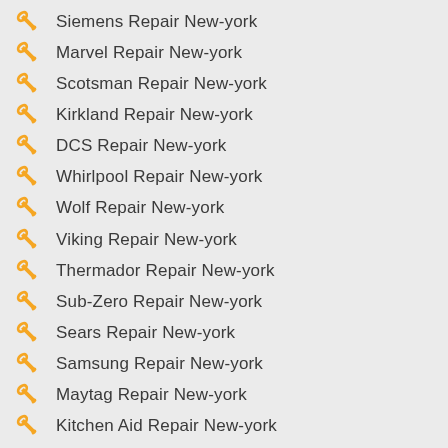Siemens Repair New-york
Marvel Repair New-york
Scotsman Repair New-york
Kirkland Repair New-york
DCS Repair New-york
Whirlpool Repair New-york
Wolf Repair New-york
Viking Repair New-york
Thermador Repair New-york
Sub-Zero Repair New-york
Sears Repair New-york
Samsung Repair New-york
Maytag Repair New-york
Kitchen Aid Repair New-york